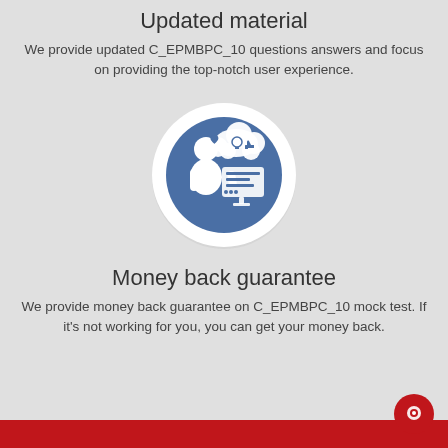Updated material
We provide updated C_EPMBPC_10 questions answers and focus on providing the top-notch user experience.
[Figure (illustration): Circular icon with a blue background showing a person at a computer with a thought bubble containing a heart, lightbulb, and thumbs up icons, surrounded by a white ring on a light gray background.]
Money back guarantee
We provide money back guarantee on C_EPMBPC_10 mock test. If it's not working for you, you can get your money back.